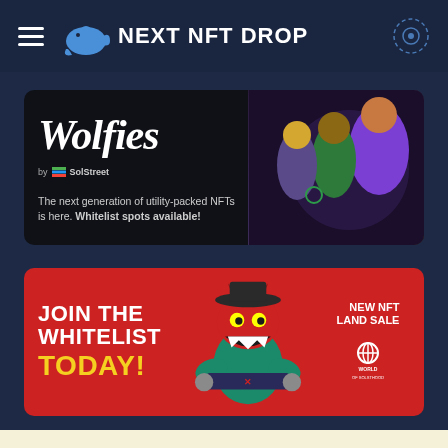NEXT NFT DROP
[Figure (illustration): Wolfies by SolStreet NFT banner on dark background with colorful cartoon wolf characters]
The next generation of utility-packed NFTs is here. Whitelist spots available!
[Figure (illustration): World of Solsthood NFT banner - red background with green monster character, Join the Whitelist Today and New NFT Land Sale text]